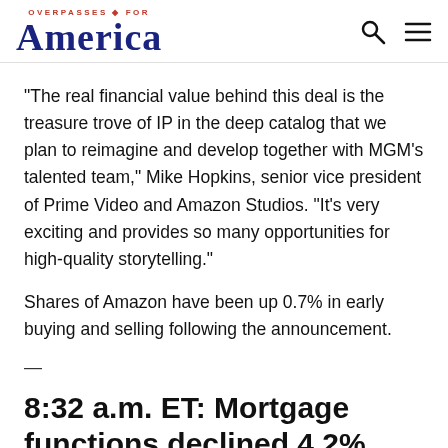OVERPASSES FOR America
“The real financial value behind this deal is the treasure trove of IP in the deep catalog that we plan to reimagine and develop together with MGM’s talented team,” Mike Hopkins, senior vice president of Prime Video and Amazon Studios. “It’s very exciting and provides so many opportunities for high-quality storytelling.”
Shares of Amazon have been up 0.7% in early buying and selling following the announcement.
—
8:32 a.m. ET: Mortgage functions declined 4.2% final week, with homebuyers held again by ‘lack of